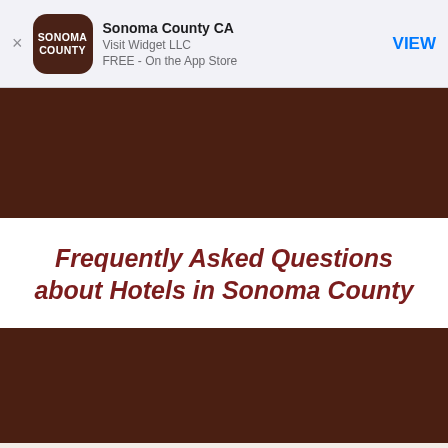[Figure (screenshot): App Store banner with Sonoma County app icon, title 'Sonoma County CA', subtitle 'Visit Widget LLC', 'FREE - On the App Store', and a blue VIEW button]
[Figure (photo): Dark brown/maroon header image area (top)]
Frequently Asked Questions about Hotels in Sonoma County
[Figure (photo): Dark brown/maroon image area (bottom)]
We serve cookies to analyze traffic and customize content on this site. See Privacy Policy